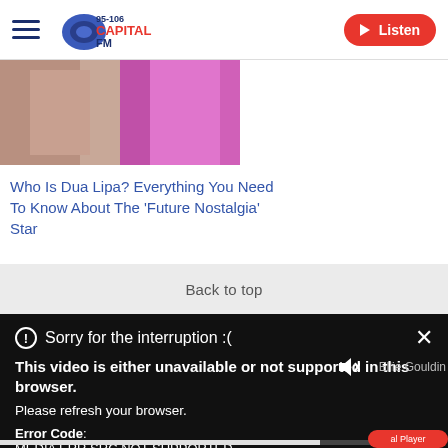95-106 Capital FM — Listen
[Figure (photo): Partial photo of two people, one in patterned clothing and one in bright pink/magenta]
Who Is Dua Lipa? Everything You Need To Know About The 'Future Nostalgia' Star
Back to top
Sorry for the interruption :(
This video is either unavailable or not supported in this browser. Please refresh your browser.
Error Code: MEDIA ERR SRC NOT SUPPORTED